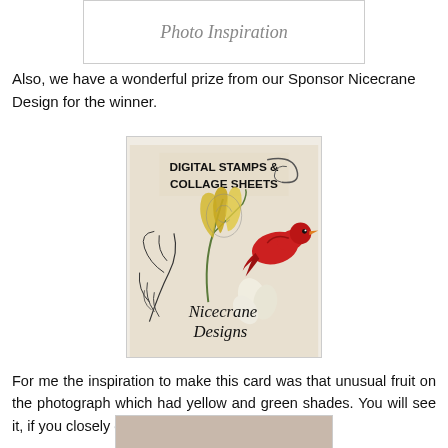[Figure (other): Top cropped image box with italic text 'Photo Inspiration']
Also, we have a wonderful prize from our Sponsor Nicecrane Design for the winner.
[Figure (illustration): Nicecrane Designs logo image showing digital stamps and collage sheets with bird and floral illustration]
For me the inspiration to make this card was that unusual fruit on the photograph which had yellow and green shades. You will see it, if you closely observe the picture.
[Figure (photo): Partial cropped photo at bottom of page, brownish-grey toned image]